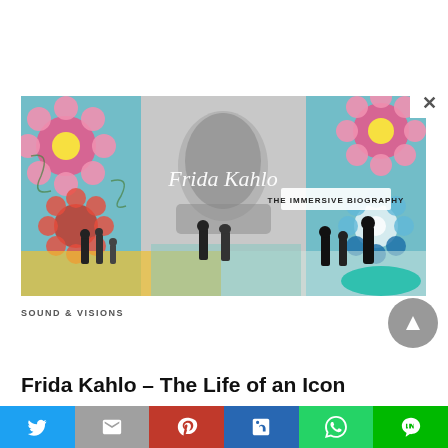[Figure (illustration): Promotional banner for 'Frida Kahlo – The Immersive Biography' showing a black and white portrait of Frida Kahlo surrounded by colorful floral artwork and silhouettes of visitors in an immersive exhibition space. Text overlay reads 'Frida Kahlo' in cursive script and 'THE IMMERSIVE BIOGRAPHY' in block letters.]
SOUND & VISIONS
Frida Kahlo – The Life of an Icon